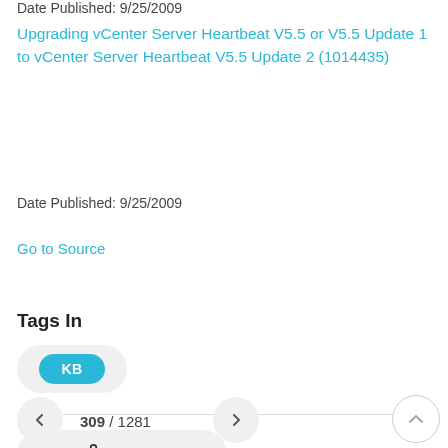Date Published: 9/25/2009
Upgrading vCenter Server Heartbeat V5.5 or V5.5 Update 1 to vCenter Server Heartbeat V5.5 Update 2 (1014435)
Date Published: 9/25/2009
Go to Source
Tags In
KB
SHARE
309 / 1281